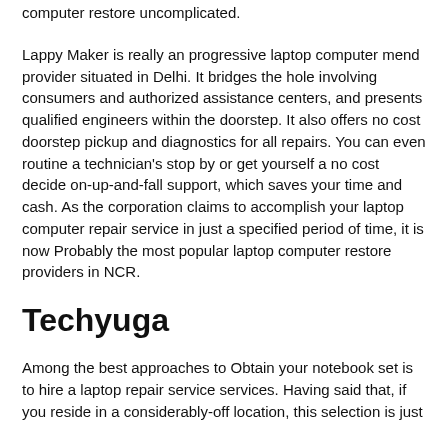computer restore uncomplicated.
Lappy Maker is really an progressive laptop computer mend provider situated in Delhi. It bridges the hole involving consumers and authorized assistance centers, and presents qualified engineers within the doorstep. It also offers no cost doorstep pickup and diagnostics for all repairs. You can even routine a technician’s stop by or get yourself a no cost decide on-up-and-fall support, which saves your time and cash. As the corporation claims to accomplish your laptop computer repair service in just a specified period of time, it is now Probably the most popular laptop computer restore providers in NCR.
Techyuga
Among the best approaches to Obtain your notebook set is to hire a laptop repair service services. Having said that, if you reside in a considerably-off location, this selection is just